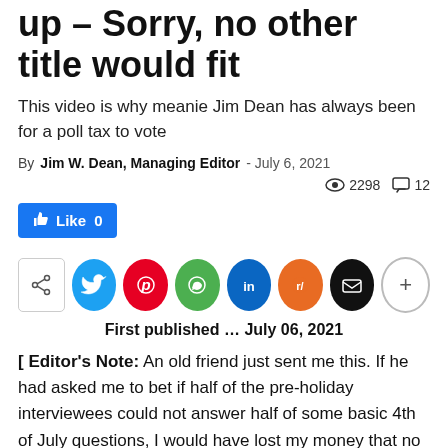You just can't make this shit up – Sorry, no other title would fit
This video is why meanie Jim Dean has always been for a poll tax to vote
By Jim W. Dean, Managing Editor - July 6, 2021  2298  12
[Figure (infographic): Facebook Like button showing Like 0]
[Figure (infographic): Share row with share box and social media icons: Twitter, Pinterest, WhatsApp, LinkedIn, Reddit, Email, and more (+) button]
First published … July 06, 2021
[ Editor's Note: An old friend just sent me this. If he had asked me to bet if half of the pre-holiday interviewees could not answer half of some basic 4th of July questions, I would have lost my money that no one could answer that the US had declared from Britain...